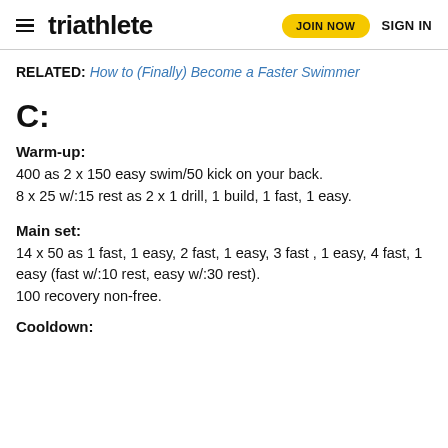triathlete | JOIN NOW | SIGN IN
RELATED: How to (Finally) Become a Faster Swimmer
C:
Warm-up:
400 as 2 x 150 easy swim/50 kick on your back.
8 x 25 w/:15 rest as 2 x 1 drill, 1 build, 1 fast, 1 easy.
Main set:
14 x 50 as 1 fast, 1 easy, 2 fast, 1 easy, 3 fast , 1 easy, 4 fast, 1 easy (fast w/:10 rest, easy w/:30 rest).
100 recovery non-free.
Cooldown: